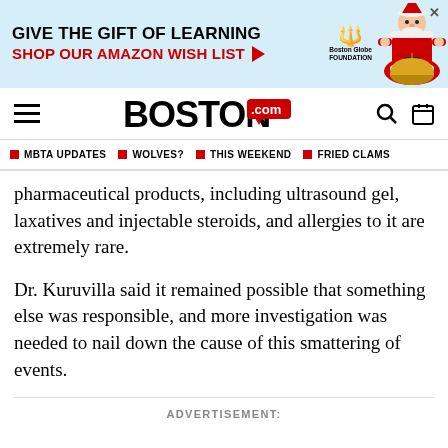[Figure (screenshot): Advertisement banner for Boston Globe Foundation: GIVE THE GIFT OF LEARNING / SHOP OUR AMAZON WISH LIST with arrow, logo and Santa illustration]
BOSTON.com navigation bar with hamburger menu, Boston.com logo, search and calendar icons
MBTA UPDATES | WOLVES? | THIS WEEKEND | FRIED CLAMS
pharmaceutical products, including ultrasound gel, laxatives and injectable steroids, and allergies to it are extremely rare.
Dr. Kuruvilla said it remained possible that something else was responsible, and more investigation was needed to nail down the cause of this smattering of events.
ADVERTISEMENT: